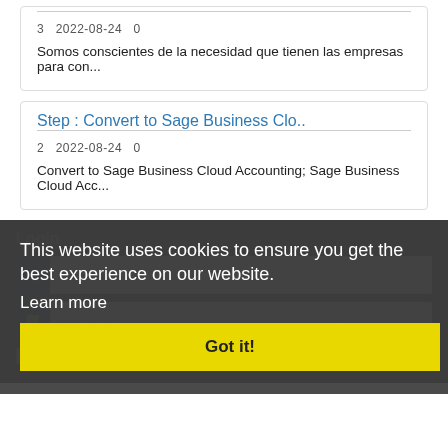3  2022-08-24  0
Somos conscientes de la necesidad que tienen las empresas para con...
Step : Convert to Sage Business Clo..
2  2022-08-24  0
Convert to Sage Business Cloud Accounting; Sage Business Cloud Acc...
Login
This website uses cookies to ensure you get the best experience on our website.
Learn more
Got it!
Email
Password
Remember Me